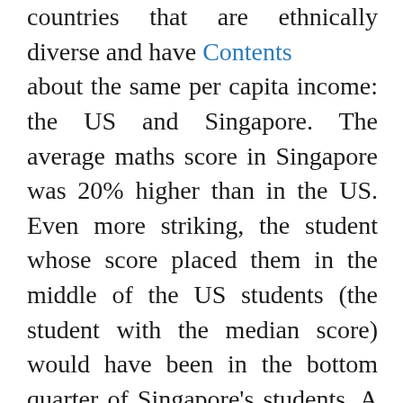countries that are ethnically diverse and have Contents about the same per capita income: the US and Singapore. The average maths score in Singapore was 20% higher than in the US. Even more striking, the student whose score placed them in the middle of the US students (the student with the median score) would have been in the bottom quarter of Singapore's students. A similar comparison would place the median American student in the bottom quarter of Japanese students, and just above the bottom quarter of Finland's students.